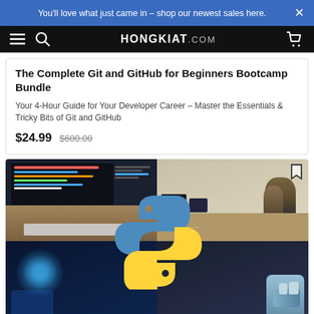You'll love what just came in – shop our newest sales here.
HONGKIAT.COM
The Complete Git and GitHub for Beginners Bootcamp Bundle
Your 4-Hour Guide for Your Developer Career – Master the Essentials & Tricky Bits of Git and GitHub
$24.99  $600.00
[Figure (photo): Composite image showing coding on a computer screen with hands on keyboard, office with two men working at monitors, overlaid with large Python programming language logo, plus AI/holographic imagery and robotic arm in the lower sections.]